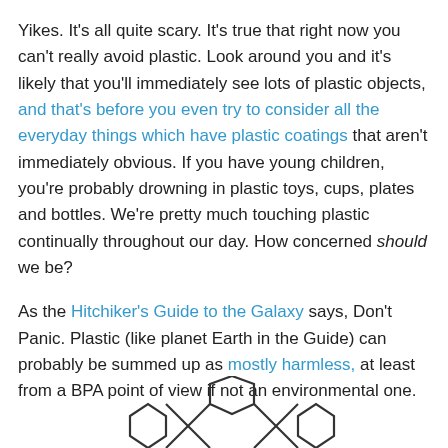Yikes. It's all quite scary. It's true that right now you can't really avoid plastic. Look around you and it's likely that you'll immediately see lots of plastic objects, and that's before you even try to consider all the everyday things which have plastic coatings that aren't immediately obvious. If you have young children, you're probably drowning in plastic toys, cups, plates and bottles. We're pretty much touching plastic continually throughout our day. How concerned should we be?
As the Hitchiker's Guide to the Galaxy says, Don't Panic. Plastic (like planet Earth in the Guide) can probably be summed up as mostly harmless, at least from a BPA point of view if not an environmental one.
[Figure (illustration): Partial chemical structure diagram showing hexagonal/aromatic ring structures at the bottom of the page]